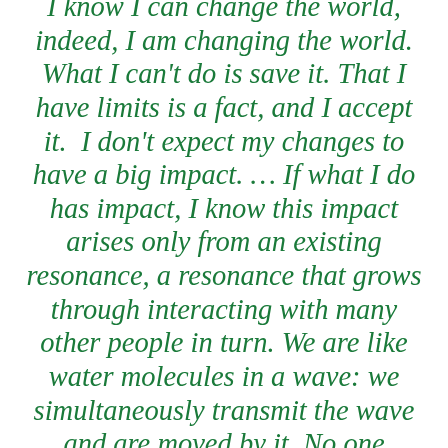I know I can change the world, indeed, I am changing the world. What I can't do is save it. That I have limits is a fact, and I accept it.  I don't expect my changes to have a big impact. … If what I do has impact, I know this impact arises only from an existing resonance, a resonance that grows through interacting with many other people in turn. We are like water molecules in a wave: we simultaneously transmit the wave and are moved by it. No one molecule causes the wave, but together an enormous number of water molecules carry the wave. It's all of us together, carried by a